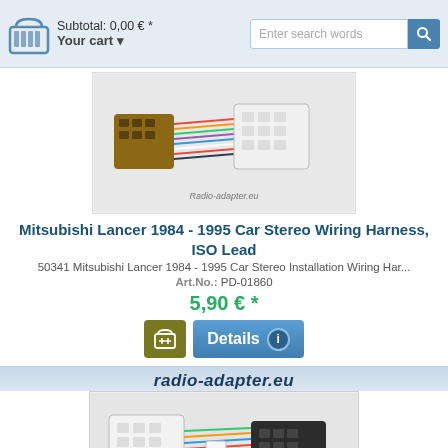Subtotal: 0,00 € * Your cart
[Figure (photo): Mitsubishi Lancer 1984-1995 car stereo ISO wiring harness connectors - brown and white plugs]
Mitsubishi Lancer 1984 - 1995 Car Stereo Wiring Harness, ISO Lead
50341 Mitsubishi Lancer 1984 - 1995 Car Stereo Installation Wiring Har...
Art.No.: PD-01860
5,90 € *
[Figure (screenshot): Add to cart button (yellow/olive) and Details button (blue) with info icon]
[Figure (photo): Mitsubishi Lancer 2005-2006 car stereo ISO wiring harness - white and black connectors with colored wires, radio-adapter.eu banner]
Mitsubishi Lancer 2005 - 2006 Car Stereo Wiring Harness, ISO